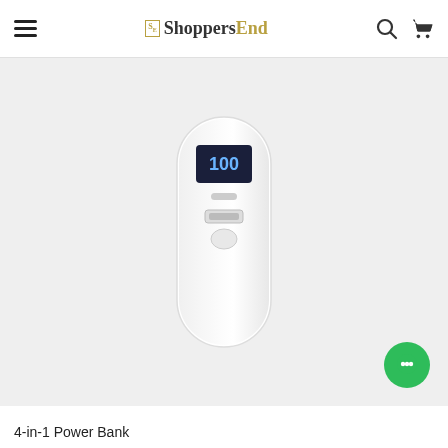ShoppersEnd
[Figure (photo): White elongated pill-shaped power bank with a black LCD display showing '100', a small button below the display, a USB port, and a power button. Product is shown against a light gray background.]
4-in-1 Power Bank